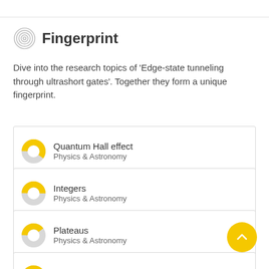Fingerprint
Dive into the research topics of 'Edge-state tunneling through ultrashort gates'. Together they form a unique fingerprint.
Quantum Hall effect
Physics & Astronomy
Integers
Physics & Astronomy
Plateaus
Physics & Astronomy
Depletion
Physics & Astronomy